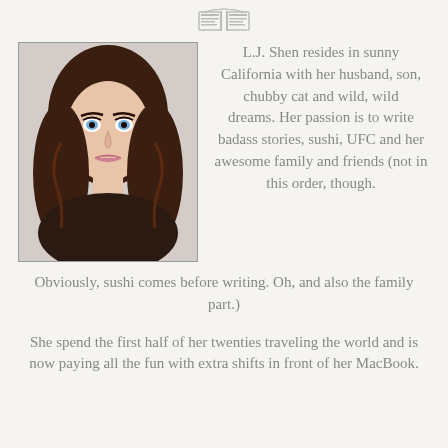[Figure (logo): Open book icon at top center of page]
[Figure (photo): Portrait photo of L.J. Shen, a young woman with long dark wavy hair and blue eyes]
L.J. Shen resides in sunny California with her husband, son, chubby cat and wild, wild dreams. Her passion is to write badass stories, sushi, UFC and her awesome family and friends (not in this order, though. Obviously, sushi comes before writing. Oh, and also the family part.)
She spend the first half of her twenties traveling the world and is now paying all the fun with extra shifts in front of her MacBook.